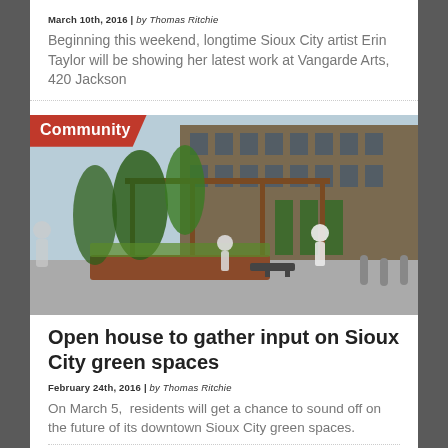March 10th, 2016 | by Thomas Ritchie
Beginning this weekend, longtime Sioux City artist Erin Taylor will be showing her latest work at Vangarde Arts, 420 Jackson
[Figure (photo): Architectural rendering of an urban outdoor green space with pergola, trees, benches, and pedestrian figures. A red banner overlay reads 'Community'.]
Open house to gather input on Sioux City green spaces
February 24th, 2016 | by Thomas Ritchie
On March 5,  residents will get a chance to sound off on the future of its downtown Sioux City green spaces.